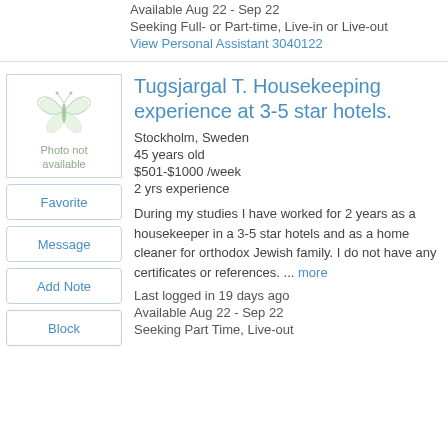Available Aug 22 - Sep 22
Seeking Full- or Part-time, Live-in or Live-out
View Personal Assistant 3040122
Tugsjargal T. Housekeeping experience at 3-5 star hotels.
Stockholm, Sweden
45 years old
$501-$1000 /week
2 yrs experience
During my studies I have worked for 2 years as a housekeeper in a 3-5 star hotels and as a home cleaner for orthodox Jewish family. I do not have any certificates or references. ... more
Last logged in 19 days ago
Available Aug 22 - Sep 22
Seeking Part Time, Live-out